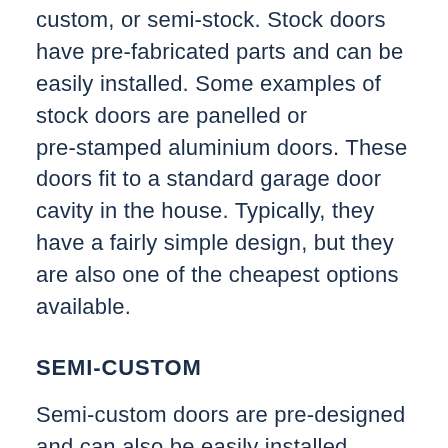custom, or semi-stock. Stock doors have pre-fabricated parts and can be easily installed. Some examples of stock doors are panelled or pre-stamped aluminium doors. These doors fit to a standard garage door cavity in the house. Typically, they have a fairly simple design, but they are also one of the cheapest options available.
SEMI-CUSTOM
Semi-custom doors are pre-designed and can also be easily installed. There are a number of designs and options